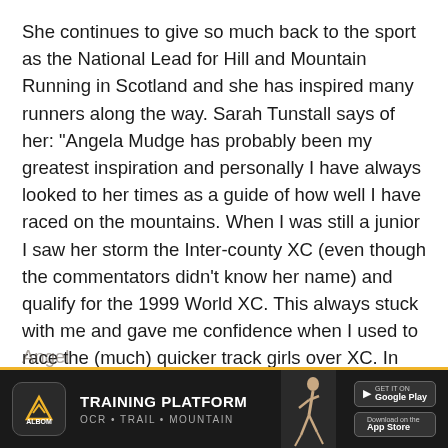She continues to give so much back to the sport as the National Lead for Hill and Mountain Running in Scotland and she has inspired many runners along the way. Sarah Tunstall says of her: “Angela Mudge has probably been my greatest inspiration and personally I have always looked to her times as a guide of how well I have raced on the mountains. When I was still a junior I saw her storm the Inter-county XC (even though the commentators didn't know her name) and qualify for the 1999 World XC. This always stuck with me and gave me confidence when I used to race the (much) quicker track girls over XC. In 2009 when I finished 2nd on the same course, seeing her win all those years previously had given me some kind of weird belief that mountain runners could mix it with the Steph Twells of the world!” Read our interview with
Angel
[Figure (infographic): Advertisement banner for Albom Training Platform. Dark background with Albom logo (mountain icon), text 'TRAINING PLATFORM' and 'OCR • TRAIL • MOUNTAIN', a running athlete silhouette, Google Play and App Store download buttons.]